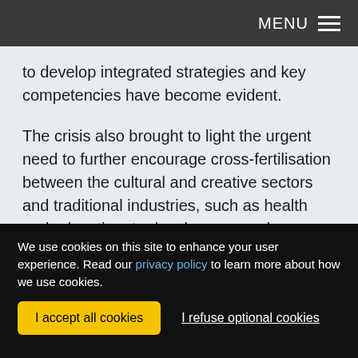MENU
to develop integrated strategies and key competencies have become evident.
The crisis also brought to light the urgent need to further encourage cross-fertilisation between the cultural and creative sectors and traditional industries, such as health and education, to develop new and more sustainable business models, to increase the
We use cookies on this site to enhance your user experience. Read our privacy policy to learn more about how we use cookies.
I accept all cookies
I refuse optional cookies